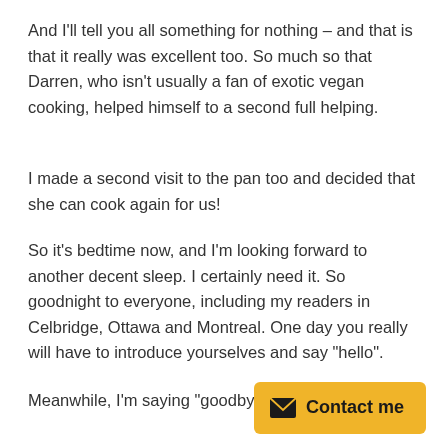And I'll tell you all something for nothing – and that is that it really was excellent too. So much so that Darren, who isn't usually a fan of exotic vegan cooking, helped himself to a second full helping.
I made a second visit to the pan too and decided that she can cook again for us!
So it's bedtime now, and I'm looking forward to another decent sleep. I certainly need it. So goodnight to everyone, including my readers in Celbridge, Ottawa and Montreal. One day you really will have to introduce yourselves and say “hello”.
Meanwhile, I'm saying “goodbye”. Until the morning.